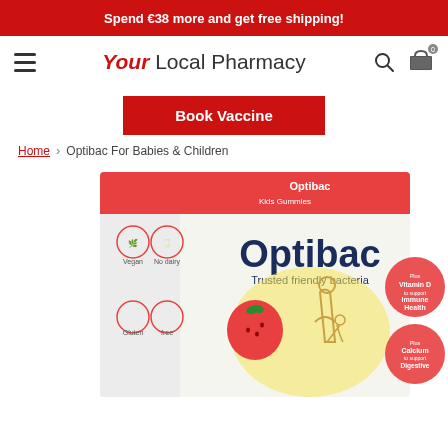Spend €38 more and get free shipping!
[Figure (logo): Your Local Pharmacy logo with hamburger menu, search and cart icons]
Book Vaccine
Home › Optibac For Babies & Children
[Figure (photo): Optibac Kids Gummies product box showing Optibac branding, Trusted friendly bacteria tagline, strawberry illustration, parent and child figure, Vitamin D for Immune Health and Calcium for Digestive icons, Vegan and No dairy badges]